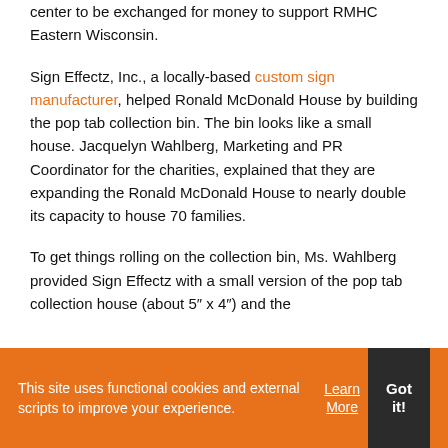center to be exchanged for money to support RMHC Eastern Wisconsin.
Sign Effectz, Inc., a locally-based custom sign manufacturer, helped Ronald McDonald House by building the pop tab collection bin. The bin looks like a small house. Jacquelyn Wahlberg, Marketing and PR Coordinator for the charities, explained that they are expanding the Ronald McDonald House to nearly double its capacity to house 70 families.
To get things rolling on the collection bin, Ms. Wahlberg provided Sign Effectz with a small version of the pop tab collection house (about 5″ x 4″) and the
This site uses functional cookies and external scripts to improve your experience. Learn More Got it!